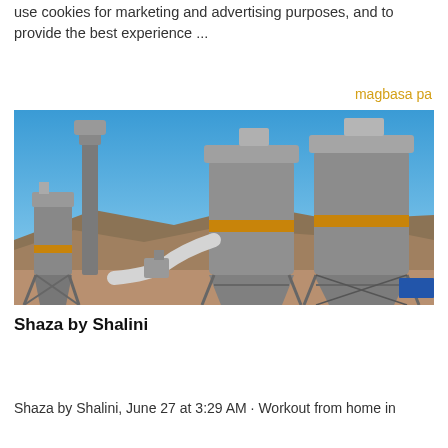use cookies for marketing and advertising purposes, and to provide the best experience ...
magbasa pa
[Figure (photo): Industrial facility with large grey cylindrical silos and conveyors against a bright blue sky with mountains in the background.]
Shaza by Shalini
Shaza by Shalini, June 27 at 3:29 AM · Workout from home in